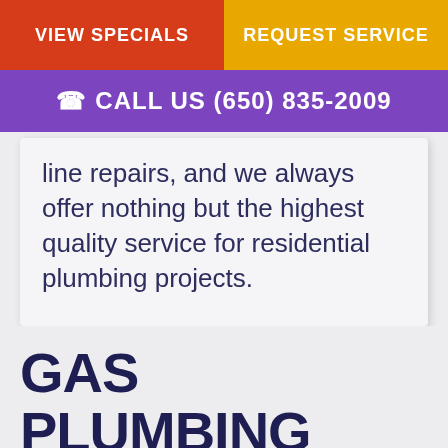VIEW SPECIALS | REQUEST SERVICE
☎ CALL US (650) 835-2009
line repairs, and we always offer nothing but the highest quality service for residential plumbing projects.
GAS PLUMBING SERVICES
Many homes across the country rely